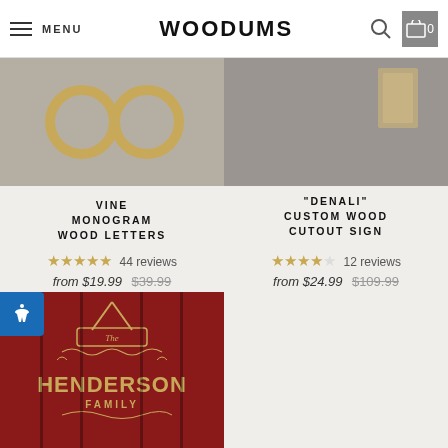MENU | WOODUMS | Search | Cart 0
[Figure (photo): Vine monogram wood letters product photo on grey background]
[Figure (photo): Denali custom wood cutout sign product photo on grey background]
VINE MONOGRAM WOOD LETTERS
★★★★★ 44 reviews
from $19.99 $39.99
"DENALI" CUSTOM WOOD CUTOUT SIGN
★★★★☆ 12 reviews
from $24.99 $109.99
[Figure (photo): Henderson family wooden door hanger sign on red door background]
[Figure (photo): Lane family monogram letter L circle wood cutout on blue wood background]